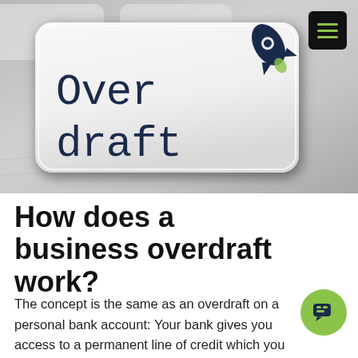[Figure (photo): A keyboard key styled button with the word 'Overdraft' and a rocket ship icon on it, against a grey keyboard background. A hamburger menu button (black with green lines) is in the top right corner.]
How does a business overdraft work?
The concept is the same as an overdraft on a personal bank account: Your bank gives you access to a permanent line of credit which you can dip into when you need it.